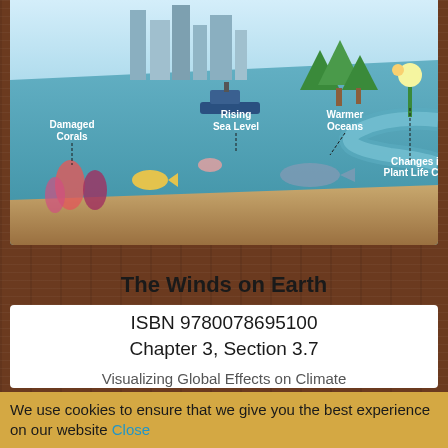[Figure (illustration): Climate change effects illustration showing ocean with damaged corals, rising sea level, warmer oceans labels, and changes in plant life cycle. Includes city skyline, river, trees, and marine life.]
The Winds on Earth
ISBN 9780078695100
Chapter 3, Section 3.7
Visualizing Global Effects on Climate
User id: RTEDU.ORG-South419
We use cookies to ensure that we give you the best experience on our website Close